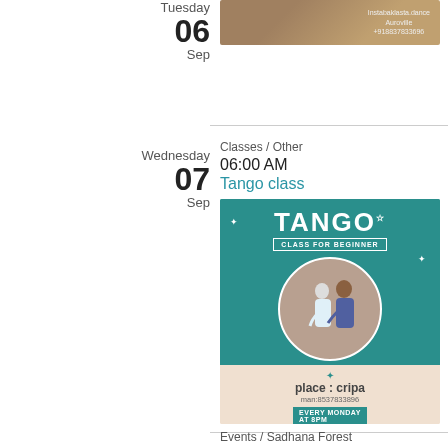Tuesday 06 Sep
[Figure (photo): Photo with text overlay: Instabaklasta dance, Auroville, +918837833696]
Wednesday 07 Sep
Classes / Other
06:00 AM
Tango class
[Figure (photo): Tango class for beginner poster: TANGO, CLASS FOR BEGINNER, place: cripa, man:8537833896, EVERY MONDAY AT 8PM, inbaklata dance]
Events / Sadhana Forest